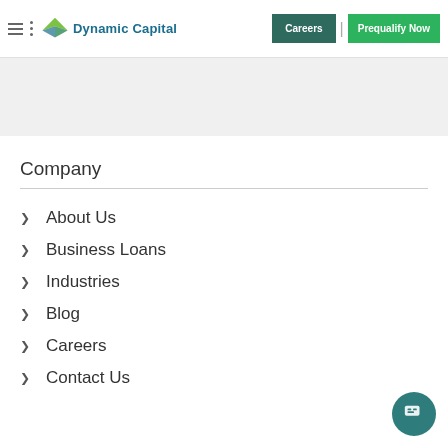Dynamic Capital | Careers | Prequalify Now
Company
About Us
Business Loans
Industries
Blog
Careers
Contact Us